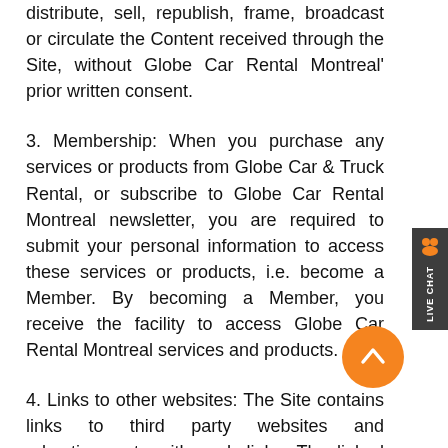distribute, sell, republish, frame, broadcast or circulate the Content received through the Site, without Globe Car Rental Montreal' prior written consent.
3. Membership: When you purchase any services or products from Globe Car & Truck Rental, or subscribe to Globe Car Rental Montreal newsletter, you are required to submit your personal information to access these services or products, i.e. become a Member. By becoming a Member, you receive the facility to access Globe Car Rental Montreal services and products.
4. Links to other websites: The Site contains links to third party websites and advertisements with such links. The linked websites are not under the control of Globe Car Montreal Rental and Globe Car Rental Montreal will not be responsible for the contents of any linked web site. The inclusion of the link or advertisement on the Site does not